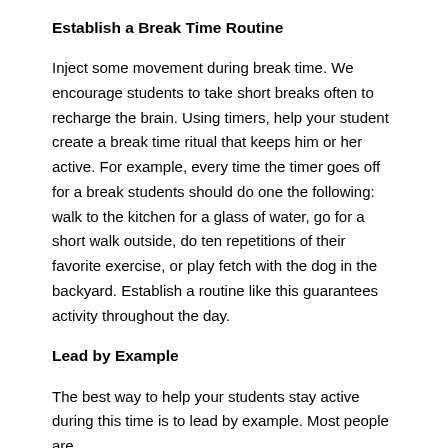Establish a Break Time Routine
Inject some movement during break time. We encourage students to take short breaks often to recharge the brain. Using timers, help your student create a break time ritual that keeps him or her active. For example, every time the timer goes off for a break students should do one the following: walk to the kitchen for a glass of water, go for a short walk outside, do ten repetitions of their favorite exercise, or play fetch with the dog in the backyard. Establish a routine like this guarantees activity throughout the day.
Lead by Example
The best way to help your students stay active during this time is to lead by example. Most people are